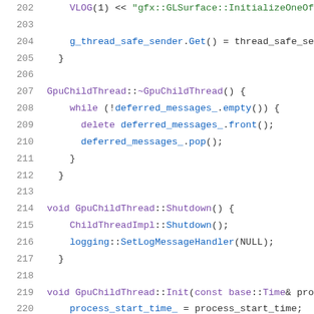[Figure (screenshot): Source code viewer showing C++ code lines 202-222 with syntax highlighting. Line numbers in grey on left, code content with purple keywords, green strings, and blue method calls on white background.]